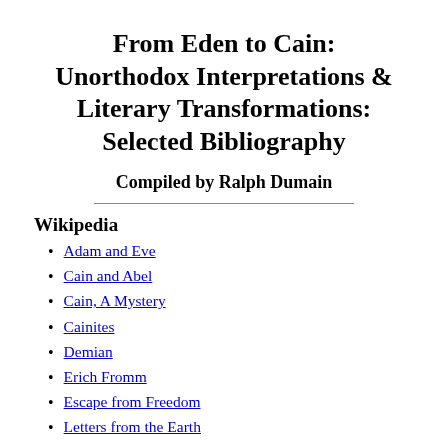From Eden to Cain: Unorthodox Interpretations & Literary Transformations: Selected Bibliography
Compiled by Ralph Dumain
Wikipedia
Adam and Eve
Cain and Abel
Cain, A Mystery
Cainites
Demian
Erich Fromm
Escape from Freedom
Letters from the Earth
Paradise Lost